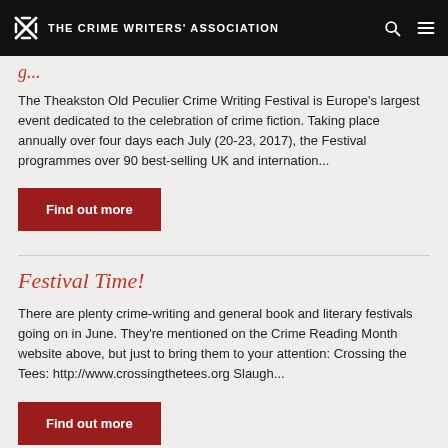THE CRIME WRITERS' ASSOCIATION
(partial title in red italic — clipped at top)
The Theakston Old Peculier Crime Writing Festival is Europe's largest event dedicated to the celebration of crime fiction. Taking place annually over four days each July (20-23, 2017), the Festival programmes over 90 best-selling UK and internation...
Find out more
Festival Time!
There are plenty crime-writing and general book and literary festivals going on in June. They're mentioned on the Crime Reading Month website above, but just to bring them to your attention: Crossing the Tees: http://www.crossingthetees.org Slaugh...
Find out more